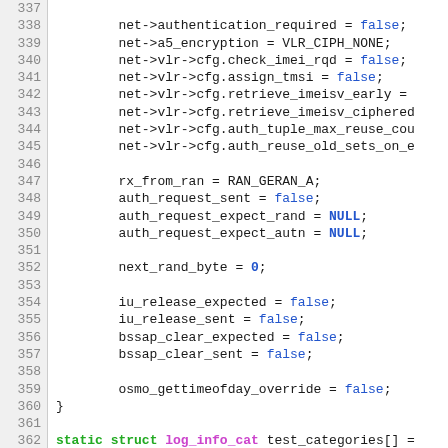Code listing lines 337–364, C source code showing test setup assignments and static struct declaration